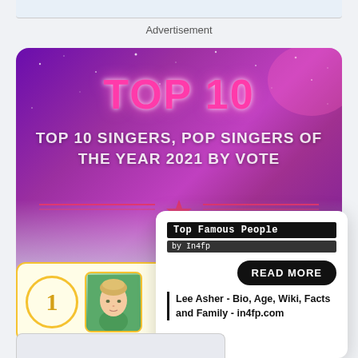Advertisement
[Figure (infographic): Purple/pink starry banner with TOP 10 in neon pink and subtitle: TOP 10 SINGERS, POP SINGERS OF THE YEAR 2021 BY VOTE]
[Figure (infographic): Rank #1 card with gold circle showing '1', photo of young male singer in green jacket, and Boots label with star icon]
[Figure (infographic): Popup overlay card from in4fp.com: Top Famous People by In4fp brand labels, READ MORE button, and article link: Lee Asher - Bio, Age, Wiki, Facts and Family - in4fp.com]